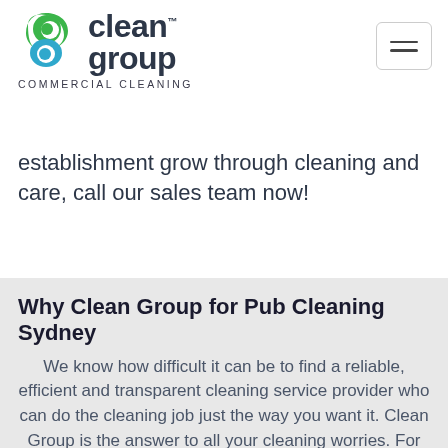Clean Group COMMERCIAL CLEANING
establishment grow through cleaning and care, call our sales team now!
Why Clean Group for Pub Cleaning Sydney
We know how difficult it can be to find a reliable, efficient and transparent cleaning service provider who can do the cleaning job just the way you want it. Clean Group is the answer to all your cleaning worries. For over 20 years, we have been serving businesses in Australia with their cleaning needs and have developed a specialization in the cleaning of pubs, hotels and similar premises. Our professional